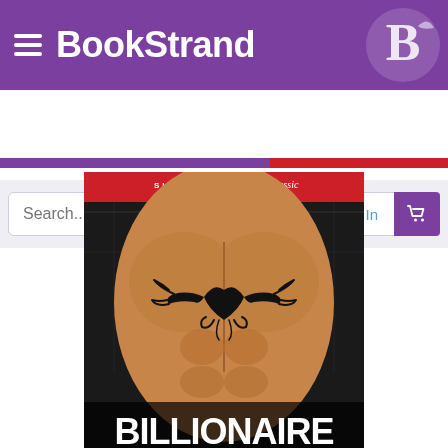BookStrand
[Figure (screenshot): BookStrand website screenshot showing header with logo, search bar, Sign In button, cart button, purple and red navigation strips, and a book cover for 'Billionaire to One' published by Siren Publishing Classic, featuring a muscular male torso with tribal tattoo]
BILLIONAIRE TO ONE
SIREN PUBLISHING Classic